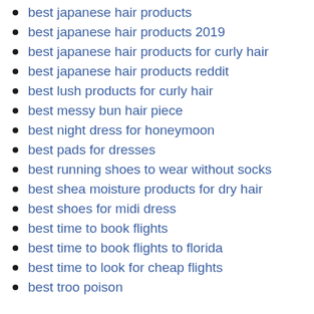best japanese hair products
best japanese hair products 2019
best japanese hair products for curly hair
best japanese hair products reddit
best lush products for curly hair
best messy bun hair piece
best night dress for honeymoon
best pads for dresses
best running shoes to wear without socks
best shea moisture products for dry hair
best shoes for midi dress
best time to book flights
best time to book flights to florida
best time to look for cheap flights
best troo poison